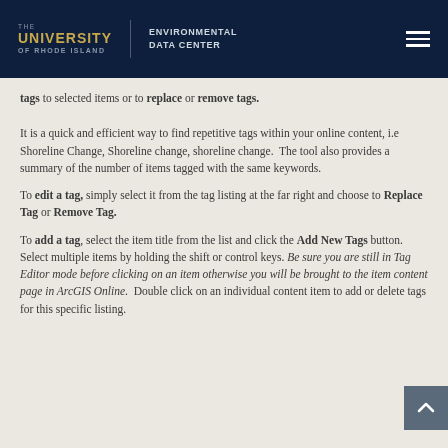The University of Rhode Island | Environmental Data Center
tags to selected items or to replace or remove tags.
It is a quick and efficient way to find repetitive tags within your online content, i.e Shoreline Change, Shoreline change, shoreline change.  The tool also provides a summary of the number of items tagged with the same keywords.
To edit a tag, simply select it from the tag listing at the far right and choose to Replace Tag or Remove Tag.
To add a tag, select the item title from the list and click the Add New Tags button.  Select multiple items by holding the shift or control keys. Be sure you are still in Tag Editor mode before clicking on an item otherwise you will be brought to the item content page in ArcGIS Online.  Double click on an individual content item to add or delete tags for this specific listing.